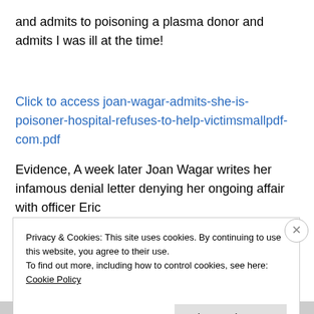and admits to poisoning a plasma donor and admits I was ill at the time!
Click to access joan-wagar-admits-she-is-poisoner-hospital-refuses-to-help-victimsmallpdf-com.pdf
Evidence, A week later Joan Wagar writes her infamous denial letter denying her ongoing affair with officer Eric
Privacy & Cookies: This site uses cookies. By continuing to use this website, you agree to their use.
To find out more, including how to control cookies, see here: Cookie Policy
Close and accept